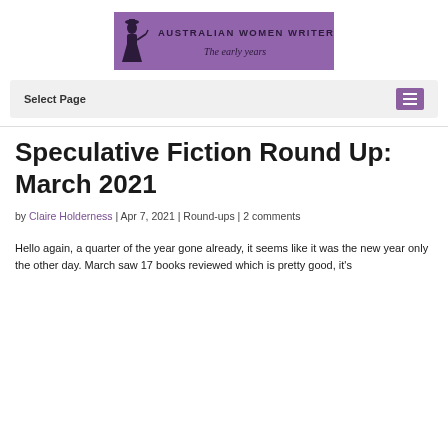[Figure (logo): Australian Women Writers Challenge banner logo with silhouette of woman and purple background, text reads 'AUSTRALIAN WOMEN WRITERS CHALLENGE The early years']
Select Page  ≡
Speculative Fiction Round Up: March 2021
by Claire Holderness | Apr 7, 2021 | Round-ups | 2 comments
Hello again, a quarter of the year gone already, it seems like it was the new year only the other day. March saw 17 books reviewed which is pretty good, it's